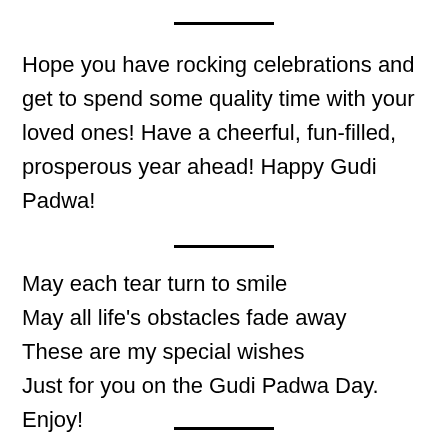Hope you have rocking celebrations and get to spend some quality time with your loved ones! Have a cheerful, fun-filled, prosperous year ahead! Happy Gudi Padwa!
May each tear turn to smile
May all life’s obstacles fade away
These are my special wishes
Just for you on the Gudi Padwa Day.
Enjoy!